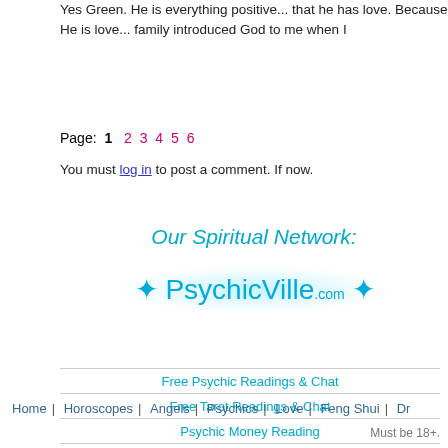Yes Green. He is everything positive... that he has love. Because He is love... family introduced God to me when I...
Page: 1 2 3 4 5 6
You must log in to post a comment. If...now.
Our Spiritual Network:
[Figure (logo): PsychicVille.com logo in teal/blue stylized font with sparkles and glow effect]
Free Psychic Readings & Chat
Free Tarot Readings & Chat
Psychic Money Reading
Live Astrology Readings & Chat
Medium Readings & Chat
Home | Horoscopes | Angels | Psychics | Love | Feng Shui | Dr...
Must be 18+.